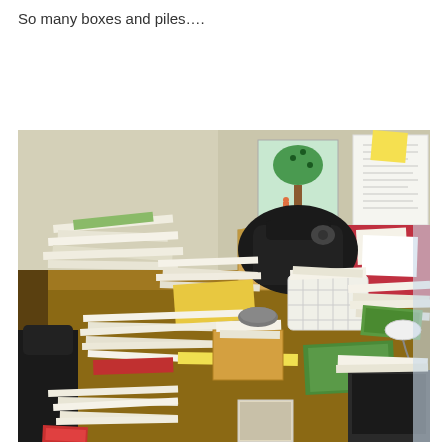So many boxes and piles….
[Figure (photo): A very cluttered and messy desk covered with numerous stacks of papers, documents, folders, cardboard boxes, a black bag, a white mesh basket, books, and miscellaneous items. A children's drawing of a tree is pinned to the wall in the background along with other papers and documents.]